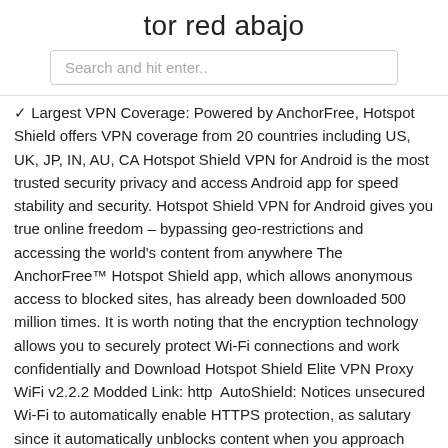tor red abajo
Search and hit enter..
✓ Largest VPN Coverage: Powered by AnchorFree, Hotspot Shield offers VPN coverage from 20 countries including US, UK, JP, IN, AU, CA Hotspot Shield VPN for Android is the most trusted security privacy and access Android app for speed stability and security. Hotspot Shield VPN for Android gives you true online freedom – bypassing geo-restrictions and accessing the world's content from anywhere The AnchorFree™ Hotspot Shield app, which allows anonymous access to blocked sites, has already been downloaded 500 million times. It is worth noting that the encryption technology allows you to securely protect Wi-Fi connections and work confidentially and Download Hotspot Shield Elite VPN Proxy WiFi v2.2.2 Modded Link: http  AutoShield: Notices unsecured Wi-Fi to automatically enable HTTPS protection, as salutary since it automatically unblocks content when you approach sure apps or places. »You can also install Hotspot Shield Free VPN Proxy & Wi-Fi Security APK files from the browser on your Android smartphone or tablet. Hotspot Shield VPN Proxy